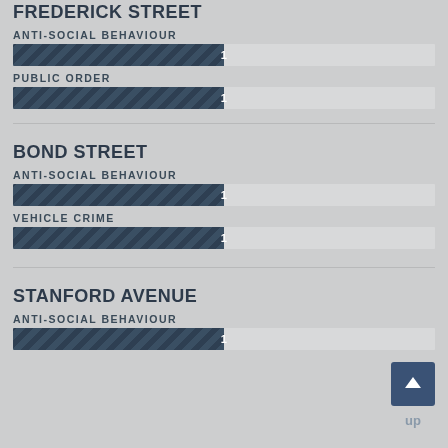FREDERICK STREET
ANTI-SOCIAL BEHAVIOUR
[Figure (bar-chart): Anti-Social Behaviour]
PUBLIC ORDER
[Figure (bar-chart): Public Order]
BOND STREET
ANTI-SOCIAL BEHAVIOUR
[Figure (bar-chart): Anti-Social Behaviour]
VEHICLE CRIME
[Figure (bar-chart): Vehicle Crime]
STANFORD AVENUE
ANTI-SOCIAL BEHAVIOUR
[Figure (bar-chart): Anti-Social Behaviour]